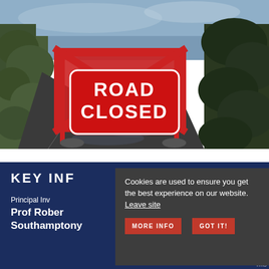[Figure (photo): Photograph of a narrow rural road with a red 'ROAD CLOSED' sign mounted on a red metal barrier, flanked by overgrown hedges and grass, with a wet road surface.]
KEY INF
Principal Inv
Prof Rober
Southampton)
Cookies are used to ensure you get the best experience on our website. Leave site
MORE INFO
GOT IT!